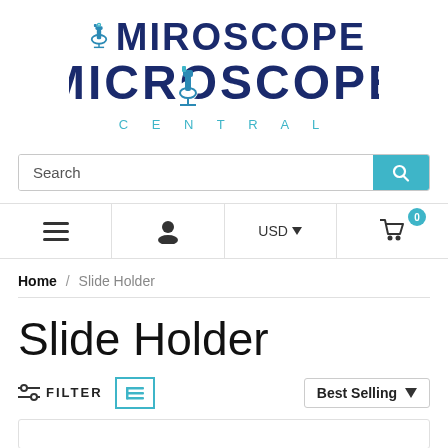[Figure (logo): Microscope Central logo — MICROSCOPE in dark navy bold uppercase with a microscope icon replacing the O, CENTRAL in teal spaced letters below]
Search
Home / Slide Holder
Slide Holder
FILTER   Best Selling